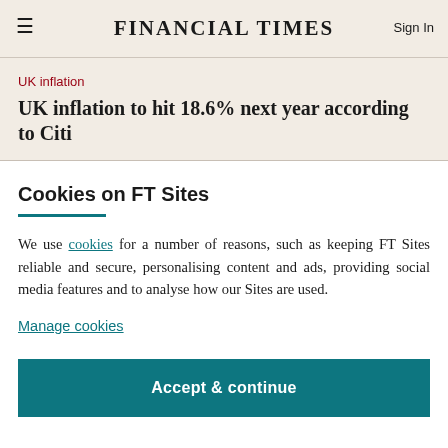FINANCIAL TIMES
UK inflation
UK inflation to hit 18.6% next year according to Citi
Cookies on FT Sites
We use cookies for a number of reasons, such as keeping FT Sites reliable and secure, personalising content and ads, providing social media features and to analyse how our Sites are used.
Manage cookies
Accept & continue